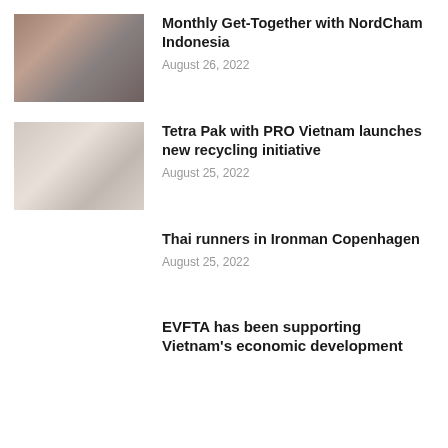[Figure (photo): Thumbnail photo of a social gathering/event with people around a table]
Monthly Get-Together with NordCham Indonesia
August 26, 2022
[Figure (photo): Thumbnail photo related to recycling initiative]
Tetra Pak with PRO Vietnam launches new recycling initiative
August 25, 2022
Thai runners in Ironman Copenhagen
August 25, 2022
EVFTA has been supporting Vietnam's economic development